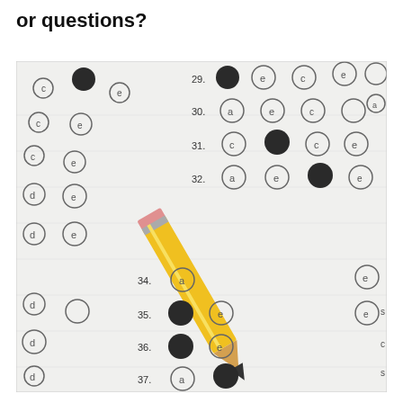or questions?
[Figure (photo): A close-up photograph of a multiple choice bubble sheet answer form with numbered rows (29-39) showing filled-in and empty answer bubbles labeled with letters. A yellow pencil with a sharpened tip is positioned diagonally across the sheet, pointing toward one of the answer rows.]